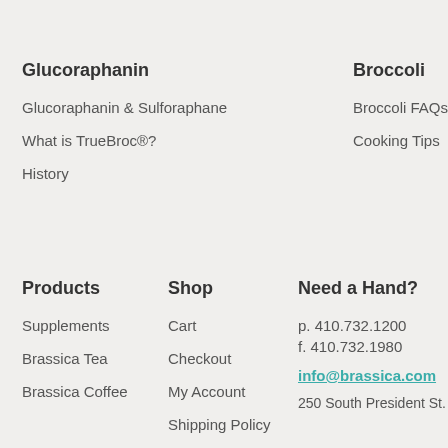Glucoraphanin
Glucoraphanin & Sulforaphane
What is TrueBroc®?
History
Broccoli
Broccoli FAQs
Cooking Tips
Products
Shop
Need a Hand?
Supplements
Brassica Tea
Brassica Coffee
Cart
Checkout
My Account
Shipping Policy
p. 410.732.1200
f. 410.732.1980
info@brassica.com
250 South President St.